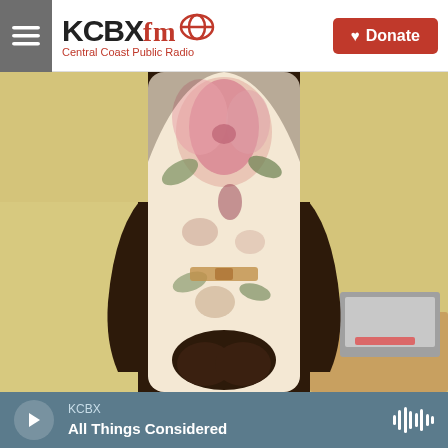KCBX fm — Central Coast Public Radio | Donate
[Figure (photo): Headless torso of a dark-skinned woman wearing a floral dress with pink and cream flowers, hands clasped in front, standing in a room with a yellow wall and a laptop visible on the right side.]
KCBX
All Things Considered